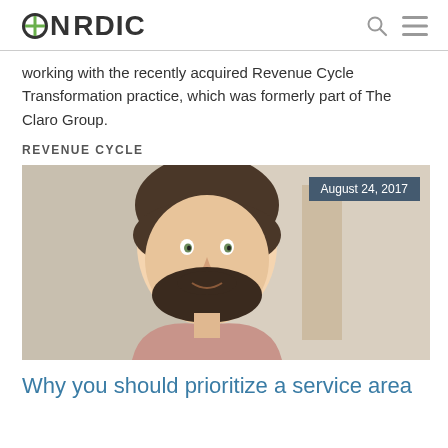NORDIC
working with the recently acquired Revenue Cycle Transformation practice, which was formerly part of The Claro Group.
REVENUE CYCLE
[Figure (photo): Professional headshot of a man with dark hair and beard wearing a pink shirt, with blurred background. Date badge reads: August 24, 2017]
Why you should prioritize a service area